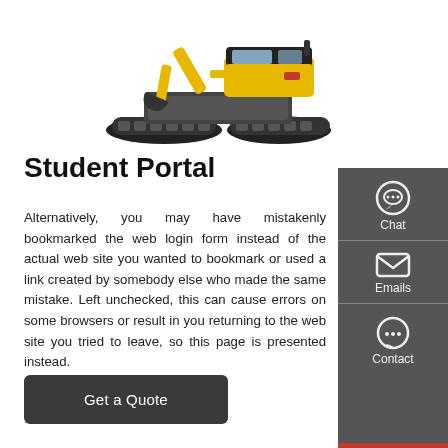[Figure (illustration): Yellow and black crawler excavator / construction machine viewed from the side, centered at top of page]
Student Portal
Alternatively, you may have mistakenly bookmarked the web login form instead of the actual web site you wanted to bookmark or used a link created by somebody else who made the same mistake. Left unchecked, this can cause errors on some browsers or result in you returning to the web site you tried to leave, so this page is presented instead.
[Figure (other): Dark sidebar with Chat icon (headset), Emails icon (envelope), and Contact icon (speech bubble with dots)]
Get a Quote